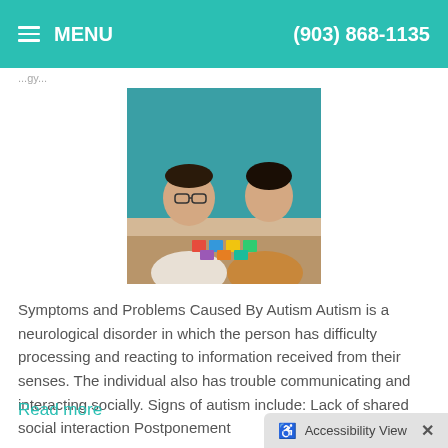MENU   (903) 868-1135
[Figure (photo): Two individuals sitting at a table; one appears to have Down syndrome and is wearing glasses and a white top, the other is a caregiver/therapist in a brown top. They are interacting with colorful blocks on the table, with a teal background.]
Symptoms and Problems Caused By Autism Autism is a neurological disorder in which the person has difficulty processing and reacting to information received from their senses. The individual also has trouble communicating and interacting socially. Signs of autism include: Lack of shared social interaction Postponement
Read more